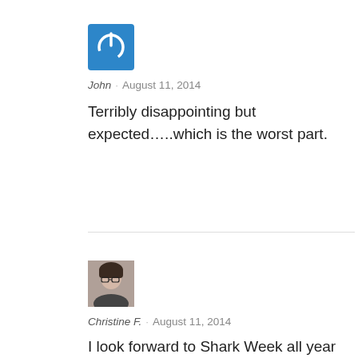[Figure (logo): Blue square with white power/on button icon (circle with vertical line at top)]
John · August 11, 2014
Terribly disappointing but expected…..which is the worst part.
[Figure (photo): Small profile photo of a woman with glasses]
Christine F. · August 11, 2014
I look forward to Shark Week all year and this just ticks me off. I want to be a marine